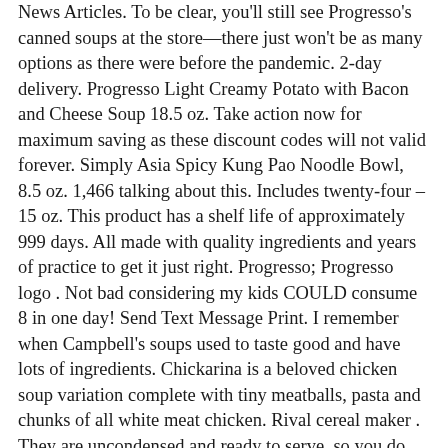News Articles. To be clear, you'll still see Progresso's canned soups at the store—there just won't be as many options as there were before the pandemic. 2-day delivery. Progresso Light Creamy Potato with Bacon and Cheese Soup 18.5 oz. Take action now for maximum saving as these discount codes will not valid forever. Simply Asia Spicy Kung Pao Noodle Bowl, 8.5 oz. 1,466 talking about this. Includes twenty-four – 15 oz. This product has a shelf life of approximately 999 days. All made with quality ingredients and years of practice to get it just right. Progresso; Progresso logo . Not bad considering my kids COULD consume 8 in one day! Send Text Message Print. I remember when Campbell's soups used to taste good and have lots of ingredients. Chickarina is a beloved chicken soup variation complete with tiny meatballs, pasta and chunks of all white meat chicken. Rival cereal maker . They are uncondensed and ready to serve, so you do not have to add water or milk before heating up a hearty bowl of lentil soup. That accounts for almost half of their soup offerings, and according to CEO Jeffrey Harmening, many of the discontinued flavors won't be coming back. It is Made with White Meat Chicken with No Antibiotics Ever. If you're counting calories like I am, the beef barley and Italian wedding are two of my favorites for lower calorie counts. $57.74 $ 57. Read the full disclosure. Progresso Soups. Product Title Progresso Rich & Hearty Beef Pot Roast Country Vegetables Soup 18.5 oz. All made with quality ingredients and years of practice to get it just right. Description. Progresso Traditional Soup, Chicken Noodle, 19 oz The Progresso